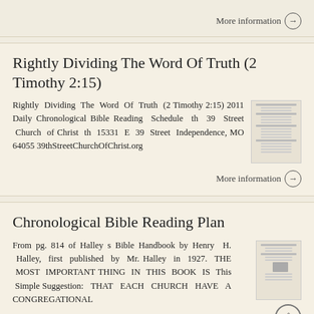More information →
Rightly Dividing The Word Of Truth (2 Timothy 2:15)
Rightly Dividing The Word Of Truth (2 Timothy 2:15) 2011 Daily Chronological Bible Reading Schedule th 39 Street Church of Christ th 15331 E 39 Street Independence, MO 64055 39thStreetChurchOfChrist.org
More information →
Chronological Bible Reading Plan
From pg. 814 of Halley s Bible Handbook by Henry H. Halley, first published by Mr. Halley in 1927. THE MOST IMPORTANT THING IN THIS BOOK IS This Simple Suggestion: THAT EACH CHURCH HAVE A CONGREGATIONAL